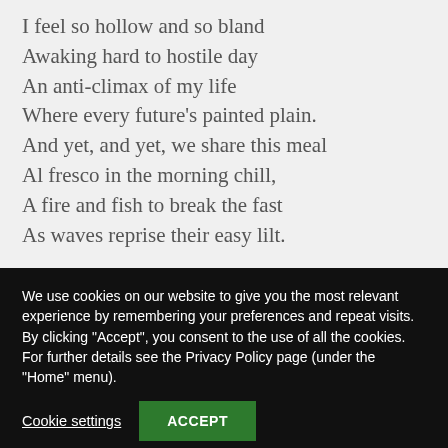I feel so hollow and so bland
Awaking hard to hostile day
An anti-climax of my life
Where every future's painted plain.
And yet, and yet, we share this meal
Al fresco in the morning chill,
A fire and fish to break the fast
As waves reprise their easy lilt.
We use cookies on our website to give you the most relevant experience by remembering your preferences and repeat visits. By clicking "Accept", you consent to the use of all the cookies. For further details see the Privacy Policy page (under the "Home" menu).
Cookie settings
ACCEPT